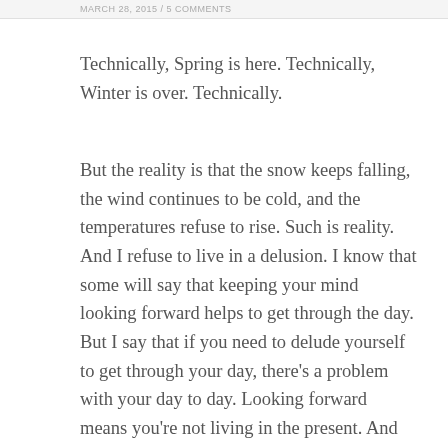MARCH 28, 2015 / 5 COMMENTS
Technically, Spring is here. Technically, Winter is over. Technically.
But the reality is that the snow keeps falling, the wind continues to be cold, and the temperatures refuse to rise. Such is reality. And I refuse to live in a delusion. I know that some will say that keeping your mind looking forward helps to get through the day.
But I say that if you need to delude yourself to get through your day, there’s a problem with your day to day. Looking forward means you’re not living in the present. And please don’t confuse this with planning for the future, or being able to look ahead – not the same thing.